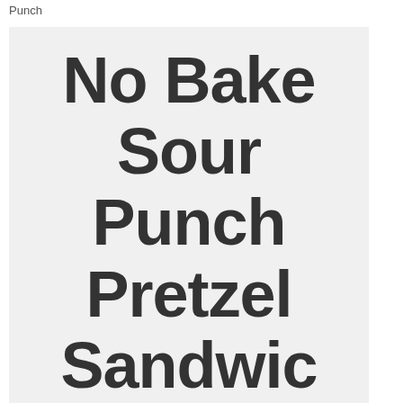Punch
No Bake Sour Punch Pretzel Sandwich